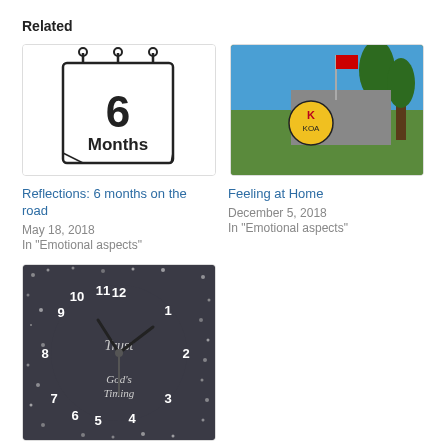Related
[Figure (illustration): Black and white illustration of a calendar/wall hanging showing '6 Months']
Reflections: 6 months on the road
May 18, 2018
In "Emotional aspects"
[Figure (photo): Outdoor photo showing a KOA campground sign with trees and blue sky in the background]
Feeling at Home
December 5, 2018
In "Emotional aspects"
[Figure (photo): Dark decorative clock face with numbers and hands, text reads 'Trust' and 'God's Timing']
Divine Timing
November 19, 2017
In "Emotional aspects"